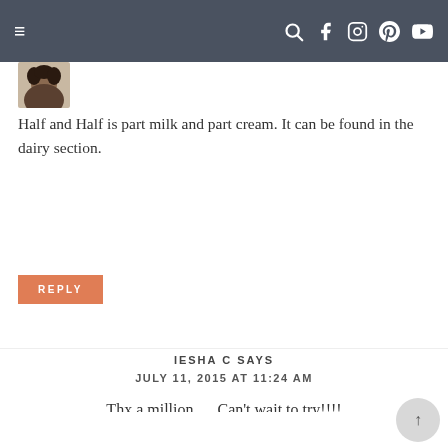Navigation bar with hamburger menu and social icons (search, facebook, instagram, pinterest, youtube)
[Figure (photo): Partial view of a person's avatar/profile photo cropped at top]
Half and Half is part milk and part cream. It can be found in the dairy section.
REPLY
IESHA C SAYS
JULY 11, 2015 AT 11:24 AM
Thx a million…. Can't wait to try!!!!
REPLY